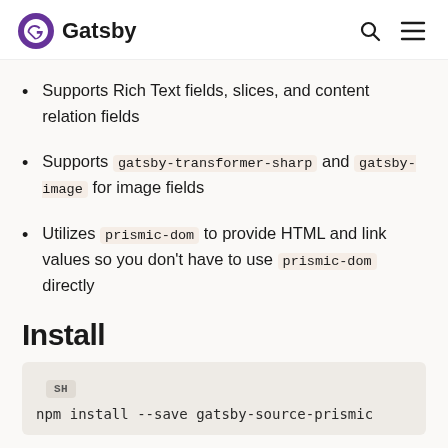Gatsby
Supports Rich Text fields, slices, and content relation fields
Supports gatsby-transformer-sharp and gatsby-image for image fields
Utilizes prismic-dom to provide HTML and link values so you don't have to use prismic-dom directly
Install
npm install --save gatsby-source-prismic